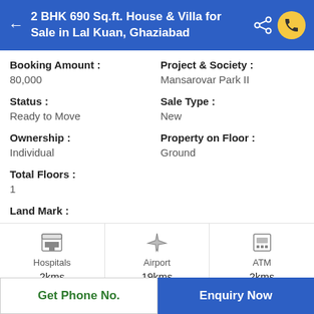2 BHK 690 Sq.ft. House & Villa for Sale in Lal Kuan, Ghaziabad
Booking Amount : 80,000
Project & Society : Mansarovar Park II
Status : Ready to Move
Sale Type : New
Ownership : Individual
Property on Floor : Ground
Total Floors : 1
Land Mark :
[Figure (infographic): Nearby amenities: Hospitals 2kms, Airport 19kms, ATM 2kms]
Get Phone No.
Enquiry Now